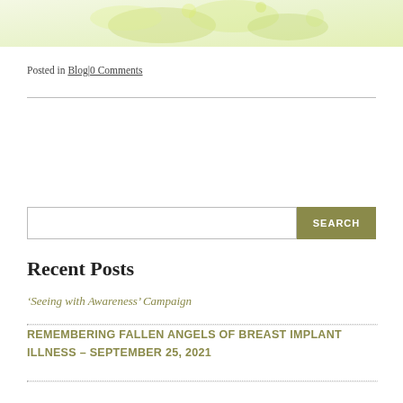[Figure (illustration): Decorative watercolor-style floral/botanical image at the top of the page, with green and yellow tones]
Posted in Blog | 0 Comments
Recent Posts
‘Seeing with Awareness’ Campaign
REMEMBERING FALLEN ANGELS OF BREAST IMPLANT ILLNESS – SEPTEMBER 25, 2021